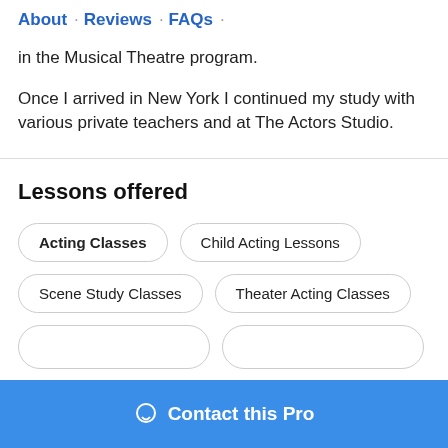About · Reviews · FAQs ·
in the Musical Theatre program.
Once I arrived in New York I continued my study with various private teachers and at The Actors Studio.
Lessons offered
Acting Classes
Child Acting Lessons
Scene Study Classes
Theater Acting Classes
Contact this Pro